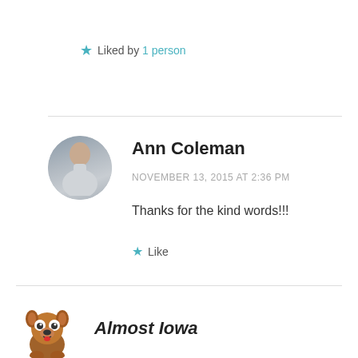★ Liked by 1 person
[Figure (photo): Circular avatar photo of Ann Coleman, a person standing in front of a textured gray background]
Ann Coleman
NOVEMBER 13, 2015 AT 2:36 PM
Thanks for the kind words!!!
★ Like
[Figure (illustration): Circular cartoon dog avatar illustration for Almost Iowa]
Almost Iowa